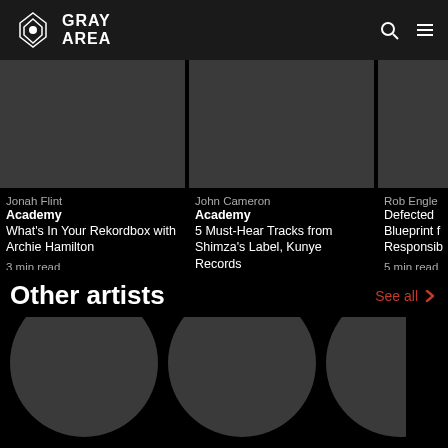GRAY AREA
Jonah Flint
Academy
What's In Your Rekordbox with Archie Hamilton
3 min read
John Cameron
Academy
5 Must-Hear Tracks from Shimza's Label, Kunye Records
2 min read
Rob Engle
Defected
Blueprint f... Responsib...
5 min read
Other artists
See all